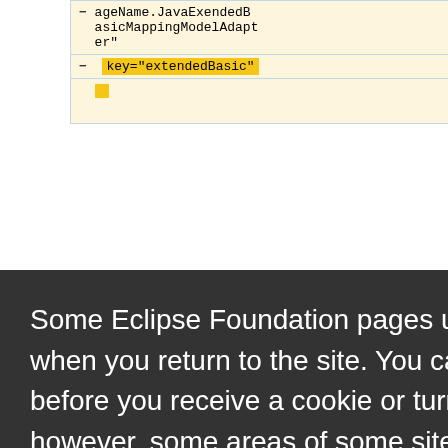[Figure (screenshot): Diff viewer showing code with yellow-highlighted left column and blue-bordered right column. Top rows show: '-ageName.JavaExendedBasicMappingModelAdapter"' and '- key="extendedBasic"' with yellow highlighted box. Background content is a code comparison tool.]
Some Eclipse Foundation pages use cookies to better serve you when you return to the site. You can set your browser to notify you before you receive a cookie or turn off cookies. If you do so, however, some areas of some sites may not function properly. To read Eclipse Foundation Privacy Policy
click here.
Decline
Allow cookies